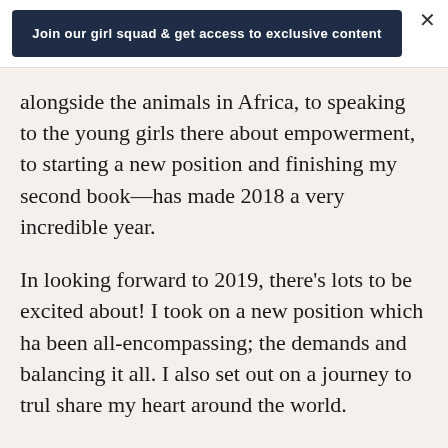Join our girl squad & get access to exclusive content
alongside the animals in Africa, to speaking to the young girls there about empowerment, to starting a new position and finishing my second book—has made 2018 a very incredible year.
In looking forward to 2019, there's lots to be excited about! I took on a new position which has been all-encompassing; the demands and balancing it all. I also set out on a journey to truly share my heart around the world.
My book is something that I am so proud of and